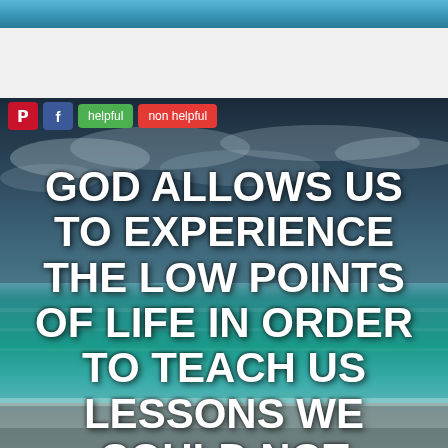[Figure (photo): Scenic beach/ocean photo with dark cloudy sky and teal water used as background for inspirational quote]
[Figure (screenshot): UI buttons row showing Pinterest (red P), Facebook (blue f), green 'helpful' button, and red 'non helpful' button]
GOD ALLOWS US TO EXPERIENCE THE LOW POINTS OF LIFE IN ORDER TO TEACH US LESSONS WE COULD NOT LEARN IN ANY